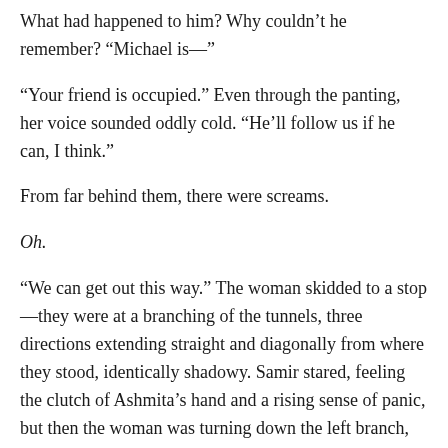What had happened to him? Why couldn't he remember? “Michael is—”
“Your friend is occupied.” Even through the panting, her voice sounded oddly cold. “He’ll follow us if he can, I think.”
From far behind them, there were screams.
Oh.
“We can get out this way.” The woman skidded to a stop—they were at a branching of the tunnels, three directions extending straight and diagonally from where they stood, identically shadowy. Samir stared, feeling the clutch of Ashmita’s hand and a rising sense of panic, but then the woman was turning down the left branch, gesturing over her shoulder.